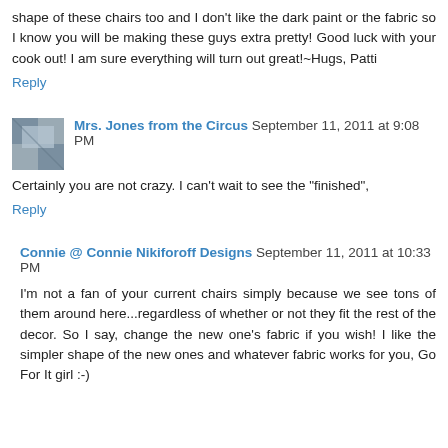shape of these chairs too and I don't like the dark paint or the fabric so I know you will be making these guys extra pretty! Good luck with your cook out! I am sure everything will turn out great!~Hugs, Patti
Reply
Mrs. Jones from the Circus  September 11, 2011 at 9:08 PM
Certainly you are not crazy. I can't wait to see the "finished",
Reply
Connie @ Connie Nikiforoff Designs  September 11, 2011 at 10:33 PM
I'm not a fan of your current chairs simply because we see tons of them around here...regardless of whether or not they fit the rest of the decor. So I say, change the new one's fabric if you wish! I like the simpler shape of the new ones and whatever fabric works for you, Go For It girl :-)